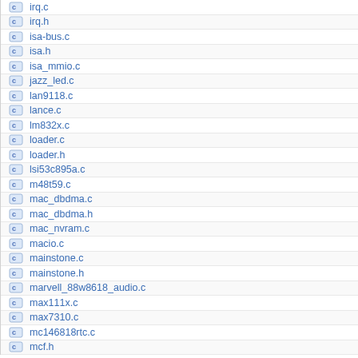irq.c
irq.h
isa-bus.c
isa.h
isa_mmio.c
jazz_led.c
lan9118.c
lance.c
lm832x.c
loader.c
loader.h
lsi53c895a.c
m48t59.c
mac_dbdma.c
mac_dbdma.h
mac_nvram.c
macio.c
mainstone.c
mainstone.h
marvell_88w8618_audio.c
max111x.c
max7310.c
mc146818rtc.c
mcf.h